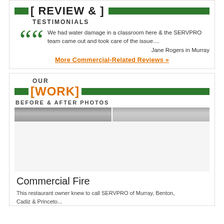REVIEW & TESTIMONIALS
We had water damage in a classroom here & the SERVPRO team came out and took care of the issue....
Jane Rogers in Murray
More Commercial-Related Reviews »
OUR WORK BEFORE & AFTER PHOTOS
[Figure (photo): Before and after photos strip showing commercial fire damage]
Commercial Fire
This restaurant owner knew to call SERVPRO of Murray, Benton, Cadiz & Princeto...